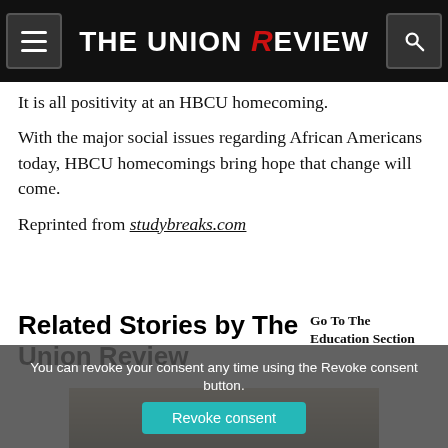THE UNION REVIEW
It is all positivity at an HBCU homecoming.
With the major social issues regarding African Americans today, HBCU homecomings bring hope that change will come.
Reprinted from studybreaks.com
Related Stories by The Union Review
Go To The Education Section
[Figure (photo): A person standing in a room wearing a teal/blue outfit]
You can revoke your consent any time using the Revoke consent button.